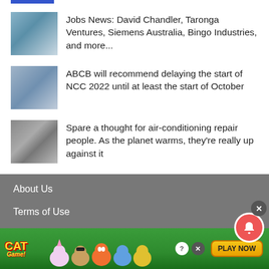Jobs News: David Chandler, Taronga Ventures, Siemens Australia, Bingo Industries, and more...
ABCB will recommend delaying the start of NCC 2022 until at least the start of October
Spare a thought for air-conditioning repair people. As the planet warms, they're really up against it
About Us
Terms of Use
Editorial submissions
Privacy Policy
[Figure (infographic): Cat Game advertisement banner with cartoon cat characters and Play Now button on green background]